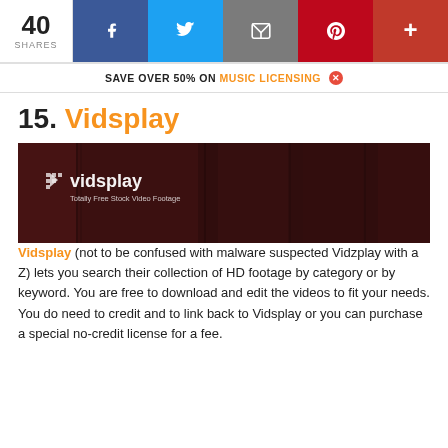40 SHARES | Facebook | Twitter | Email | Pinterest | More
SAVE OVER 50% ON MUSIC LICENSING ×
15. Vidsplay
[Figure (screenshot): Screenshot of Vidsplay website showing the logo 'vidsplay - Totally Free Stock Video Footage' against a dark reddish-brown wooden background]
Vidsplay (not to be confused with malware suspected Vidzplay with a Z) lets you search their collection of HD footage by category or by keyword. You are free to download and edit the videos to fit your needs. You do need to credit and to link back to Vidsplay or you can purchase a special no-credit license for a fee.